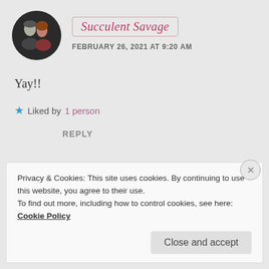[Figure (photo): Circular avatar photo of two people (a man and a woman) together, dark background]
Succulent Savage
FEBRUARY 26, 2021 AT 9:20 AM
Yay!!
★ Liked by 1 person
REPLY
Privacy & Cookies: This site uses cookies. By continuing to use this website, you agree to their use.
To find out more, including how to control cookies, see here: Cookie Policy
Close and accept